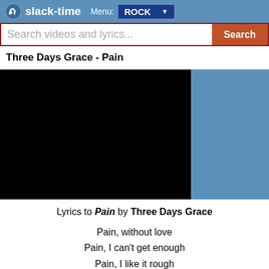slack-time  Menu: ROCK
Search videos and lyrics...
Three Days Grace - Pain
[Figure (other): Embedded video player showing a black screen (video not loaded)]
Lyrics to Pain by Three Days Grace

Pain, without love
Pain, I can't get enough
Pain, I like it rough
'Cause I'd rather feel pain than nothing at all